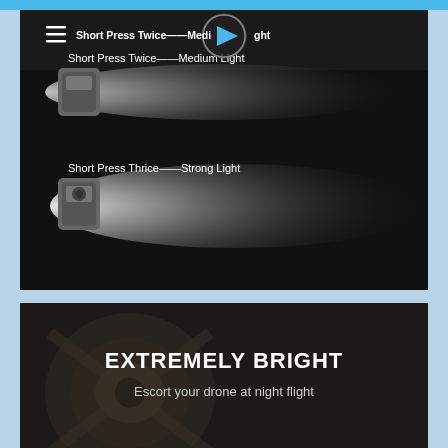[Figure (screenshot): Video panel showing flashlight/torch demonstration. Top section shows 'Short Press Twice—Medium Light' with a play button overlay and two beam intensity demonstrations. A gray cube-shaped device emitting light beams on dark background. Labels: 'Short Press Thrice——Strong Light' visible below the medium light section.]
Short Press Twice——Medium Light
Short Press Thrice——Strong Light
[Figure (photo): Dark panel with drone silhouette in background. Text overlay reads 'EXTREMELY BRIGHT' in large bold white letters and 'Escort your drone at night flight' below in lighter text.]
EXTREMELY BRIGHT
Escort your drone at night flight